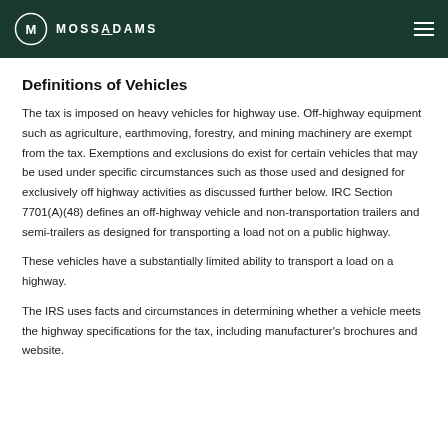MOSSADAMS
Definitions of Vehicles
The tax is imposed on heavy vehicles for highway use. Off-highway equipment such as agriculture, earthmoving, forestry, and mining machinery are exempt from the tax. Exemptions and exclusions do exist for certain vehicles that may be used under specific circumstances such as those used and designed for exclusively off highway activities as discussed further below. IRC Section 7701(A)(48) defines an off-highway vehicle and non-transportation trailers and semi-trailers as designed for transporting a load not on a public highway.
These vehicles have a substantially limited ability to transport a load on a highway.
The IRS uses facts and circumstances in determining whether a vehicle meets the highway specifications for the tax, including manufacturer's brochures and website.